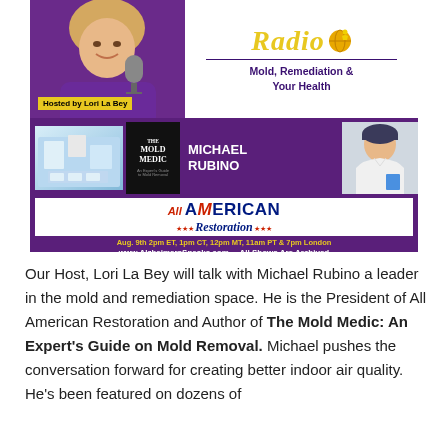[Figure (infographic): Radio show promotional banner for Alzheimer's Speaks Radio featuring host Lori La Bey and guest Michael Rubino, discussing Mold Remediation and Your Health. Shows All American Restoration logo, The Mold Medic book cover, scheduled for Aug. 9th 2pm ET, 1pm CT, 12pm MT, 11am PT & 7pm London. Website: www.AlzheimersSpeaks.com. All Shows Are Archived.]
Our Host, Lori La Bey will talk with Michael Rubino a leader in the mold and remediation space. He is the President of All American Restoration and Author of The Mold Medic: An Expert's Guide on Mold Removal. Michael pushes the conversation forward for creating better indoor air quality. He's been featured on dozens of